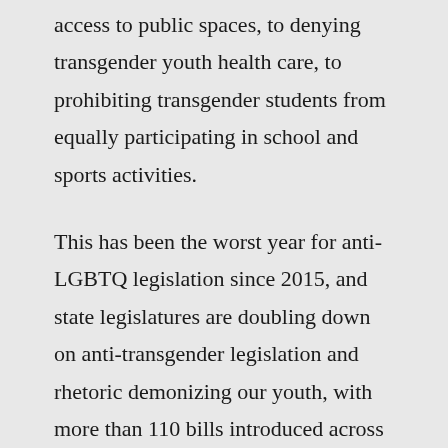access to public spaces, to denying transgender youth health care, to prohibiting transgender students from equally participating in school and sports activities.
This has been the worst year for anti-LGBTQ legislation since 2015, and state legislatures are doubling down on anti-transgender legislation and rhetoric demonizing our youth, with more than 110 bills introduced across 33 states since January.
The stakes are high. Unless we act quickly,